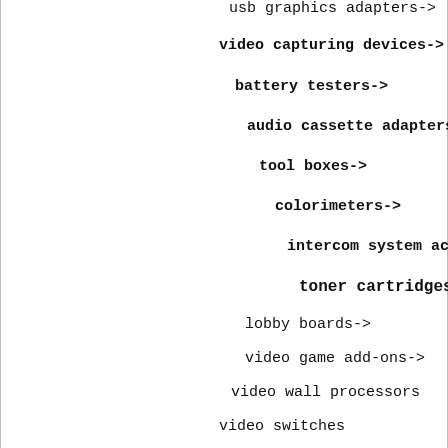usb graphics adapters->
video capturing devices->
battery testers->
audio cassette adapters->
tool boxes->
colorimeters->
intercom system accessories->
toner cartridges
lobby boards->
video game add-ons->
video wall processors
video switches
bags & cases->
batteries & accessories->
cameras & camcorders->
computers->
computer monitors
electrical equipment & supplies->
home security & automation->
Laser Printers
measuring, testing & control->